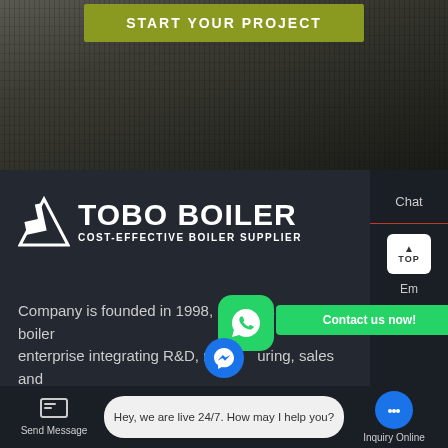[Figure (screenshot): Rocky cave stalactite background image]
START YOUR PROJECT
[Figure (logo): TOBO BOILER logo with icon and tagline COST-EFFECTIVE BOILER SUPPLIER]
Company is founded in 1998, is a clean fuel boiler enterprise integrating R&D, manufacturing, sales and service.
[Figure (other): WhatsApp icon with Contact us now! green button overlay]
Chat
Em
Contact
Send Message
Hey, we are live 24/7. How may I help you?
Inquiry Online